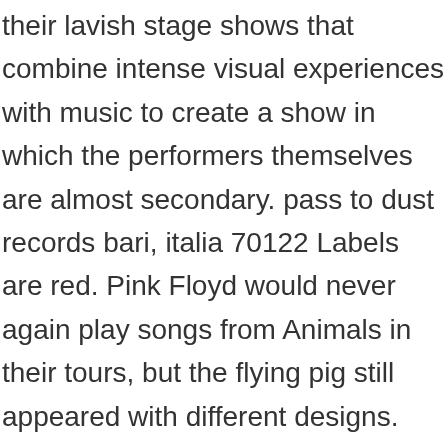their lavish stage shows that combine intense visual experiences with music to create a show in which the performers themselves are almost secondary. pass to dust records bari, italia 70122 Labels are red. Pink Floyd would never again play songs from Animals in their tours, but the flying pig still appeared with different designs. Roger has said that he regreted this incident and it got him to thinking how Pink Floyd and their fans had become distant and that a wall had come betwen them. in London. Apparently the ELP concert was MUCH more “civilized”. Set I – Animals: In the Flesh (1977 Pink Floyd 'Animals' tour), Live Frogs Set 2 (Les Claypool's Frog Brigade Album), Is There Anybody Out There? At one stage an over zealous fan started to get very close to Roger who beckoned the fan closer by calling out “here piggy”. Blue